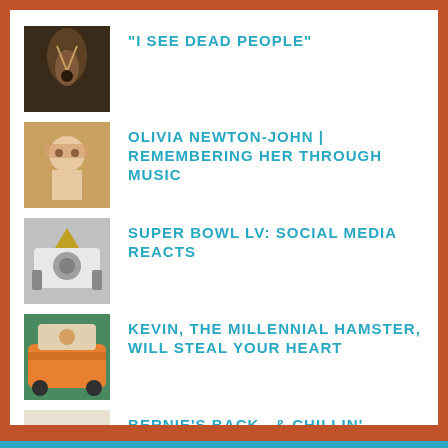"I SEE DEAD PEOPLE"
OLIVIA NEWTON-JOHN | REMEMBERING HER THROUGH MUSIC
SUPER BOWL LV: SOCIAL MEDIA REACTS
KEVIN, THE MILLENNIAL HAMSTER, WILL STEAL YOUR HEART
BERNIE'S BACK...& CHILLIN'